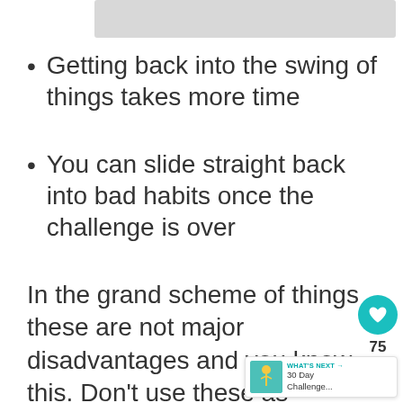[Figure (other): Top image bar placeholder (partially visible image at top of page)]
Getting back into the swing of things takes more time
You can slide straight back into bad habits once the challenge is over
In the grand scheme of things these are not major disadvantages and you know this. Don't use these as reasons not to complete a digital detox